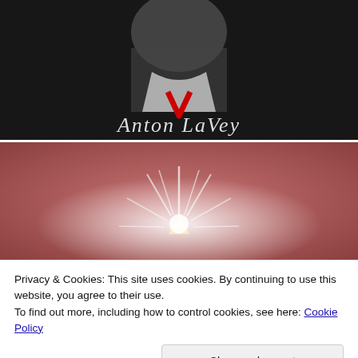[Figure (photo): Black and white photo of Anton LaVey on a dark fabric/t-shirt with red V symbol and gothic text reading 'Anton LaVey']
[Figure (photo): Close-up of fabric/t-shirt showing a glowing star-burst or light radiating design with yellow/gold triangle at center against a reddish-pink background]
Privacy & Cookies: This site uses cookies. By continuing to use this website, you agree to their use.
To find out more, including how to control cookies, see here: Cookie Policy
[Figure (photo): Partial view of another t-shirt design at the very bottom of the page]